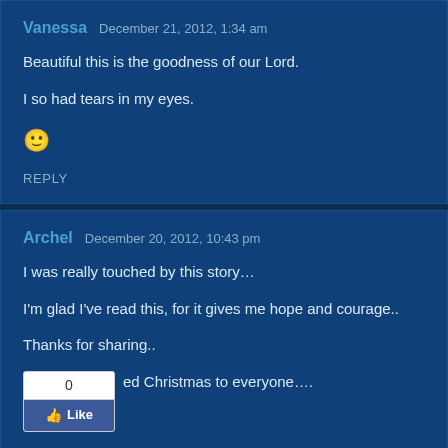Vanessa  December 21, 2012, 1:34 am
Beautiful this is the goodness of our Lord.

I so had tears in my eyes.

🙂
REPLY
Archel  December 20, 2012, 10:43 pm
I was really touched by this story...

I'm glad I've read this, for it gives me hope and courage..

Thanks for sharing..

[Like widget: 0 likes] ed Christmas to everyone....